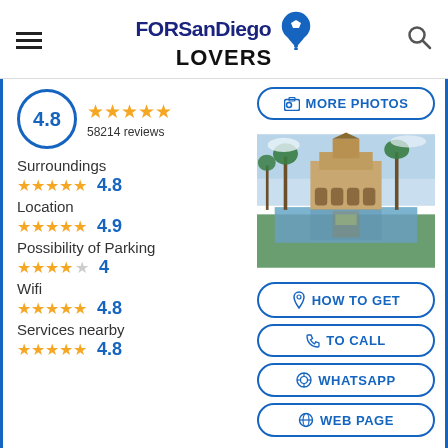FORSanDiego LOVERS (navigation header with hamburger menu and search icon)
4.8
58214 reviews
[Figure (photo): Balboa Park reflecting pool with Spanish colonial revival architecture building and palm trees]
Surroundings 4.8
Location 4.9
Possibility of Parking 4
Wifi 4.8
Services nearby 4.8
MORE PHOTOS
HOW TO GET
TO CALL
WHATSAPP
WEB PAGE